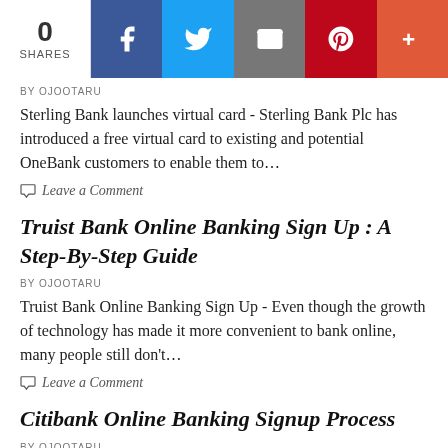[Figure (screenshot): Social sharing bar with 0 shares count, and buttons for Facebook, Twitter, Email, Pinterest, and More (+)]
BY OJOOTARU
Sterling Bank launches virtual card  - Sterling Bank Plc has introduced a free virtual card to existing and potential OneBank customers to enable them to…
Leave a Comment
Truist Bank Online Banking Sign Up : A Step-By-Step Guide
BY OJOOTARU
Truist Bank Online Banking Sign Up  - Even though the growth of technology has made it more convenient to bank online, many people still don't…
Leave a Comment
Citibank Online Banking Signup Process
BY OJOOTARU